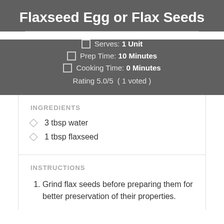Flaxseed Egg or Flax Seeds
Serves: 1 Unit
Prep Time: 10 Minutes
Cooking Time: 0 Minutes
Rating 5.0/5 ( 1 voted )
INGREDIENTS
3 tbsp water
1 tbsp flaxseed
INSTRUCTIONS
Grind flax seeds before preparing them for better preservation of their properties.